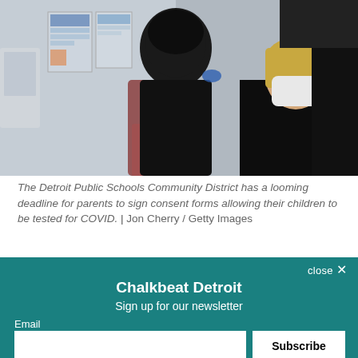[Figure (photo): A healthcare worker wearing a mask sits facing a patient (seen from behind) in what appears to be a medical or school clinic setting. There are informational posters on the wall in the background.]
The Detroit Public Schools Community District has a looming deadline for parents to sign consent forms allowing their children to be tested for COVID. | Jon Cherry / Getty Images
More than half of students at up to 15 schools in the Detroit district have consent forms on file allowing them to be tested weekly, Chalkbeat...
close ×
Chalkbeat Detroit
Sign up for our newsletter
Email
Subscribe
By signing up, you agree to our Privacy Notice and European users agree to the data transfer policy.